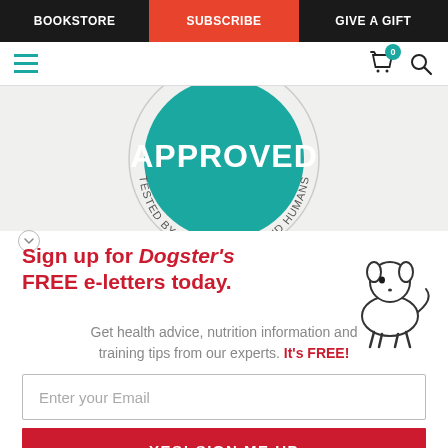BOOKSTORE | SUBSCRIBE | GIVE A GIFT
[Figure (illustration): Circular green stamp/seal with text APPROVED and TESTED BY EXPERT DOGS AND HUMANS — partially visible, cropped]
Sign up for Dogster's FREE e-letters today.
Get health advice, nutrition information and training tips from our experts. It's FREE!
Enter your Email
YES! SIGN ME UP